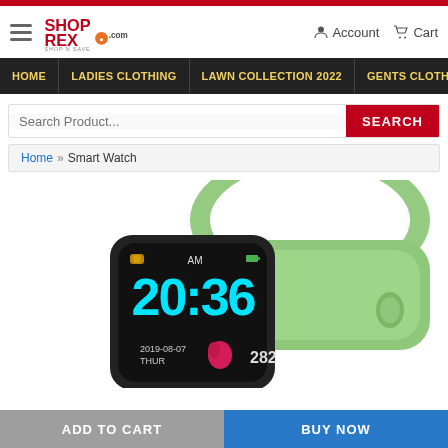ShopRex.com — Account | Cart
HOME | LADIES CLOTHING | LAWN COLLECTION 2022 | GENTS CLOTHING
Search Product... SEARCH
Home » Smart Watch
[Figure (photo): A smartwatch with a green/mint silicone band and black case. The watch face displays time 20:36 AM, date 2019-08-07 THU, and heart rate 282, with a flame/heart icon on the screen.]
ADD TO CART | BUY NOW